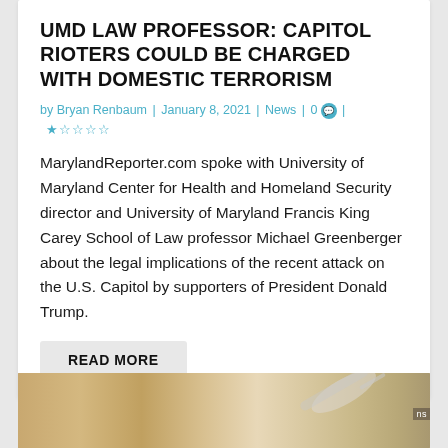UMD LAW PROFESSOR: CAPITOL RIOTERS COULD BE CHARGED WITH DOMESTIC TERRORISM
by Bryan Renbaum | January 8, 2021 | News | 0 | ★☆☆☆☆
MarylandReporter.com spoke with University of Maryland Center for Health and Homeland Security director and University of Maryland Francis King Carey School of Law professor Michael Greenberger about the legal implications of the recent attack on the U.S. Capitol by supporters of President Donald Trump.
READ MORE
[Figure (photo): Photo of hands holding a medical syringe/vaccine vial, partially cropped at bottom of page.]